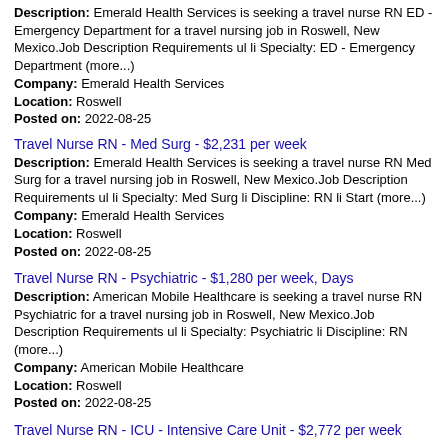Description: Emerald Health Services is seeking a travel nurse RN ED - Emergency Department for a travel nursing job in Roswell, New Mexico.Job Description Requirements ul li Specialty: ED - Emergency Department (more...)
Company: Emerald Health Services
Location: Roswell
Posted on: 2022-08-25
Travel Nurse RN - Med Surg - $2,231 per week
Description: Emerald Health Services is seeking a travel nurse RN Med Surg for a travel nursing job in Roswell, New Mexico.Job Description Requirements ul li Specialty: Med Surg li Discipline: RN li Start (more...)
Company: Emerald Health Services
Location: Roswell
Posted on: 2022-08-25
Travel Nurse RN - Psychiatric - $1,280 per week, Days
Description: American Mobile Healthcare is seeking a travel nurse RN Psychiatric for a travel nursing job in Roswell, New Mexico.Job Description Requirements ul li Specialty: Psychiatric li Discipline: RN (more...)
Company: American Mobile Healthcare
Location: Roswell
Posted on: 2022-08-25
Travel Nurse RN - ICU - Intensive Care Unit - $2,772 per week